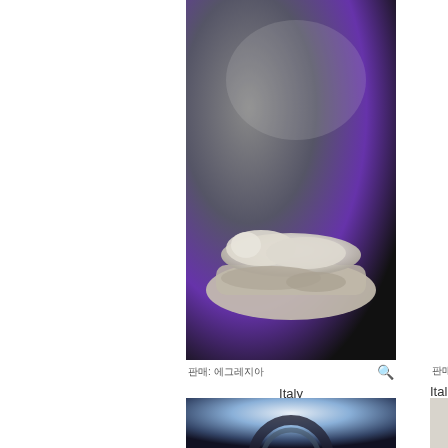[Figure (photo): White sculpture of a reclining figure on a rocky base, photographed against a dark grey-purple gradient background]
판매: 에그레지아  🔍  판매: 이탈
Italy
₩220,000
Egregia sculpture
[Figure (photo): White marble sculpture of two embracing figures, photographed against a blue sky background]
Ital
₩90,...
Egregia s
[Figure (photo): Bottom partial image - dark circular object against gradient background (partially visible)]
[Figure (photo): Bottom partial image - white sculpture against background (partially visible)]